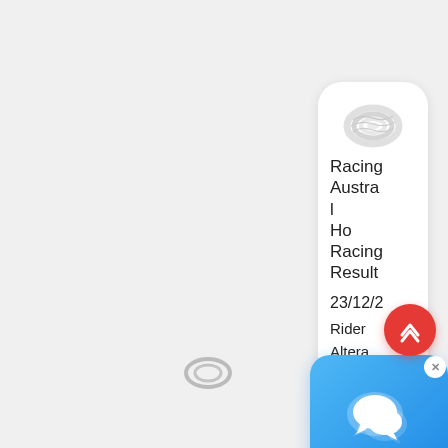[Figure (screenshot): A mobile app UI screenshot showing a card with a rope/coil product image and text: Racing Austra l Ho Racing Result 23/12/2 Rider Altera R4 N7, with a chat bubble overlay (blue), a close X button, and a red scroll-to-top button. A partial card is visible at the bottom right.]